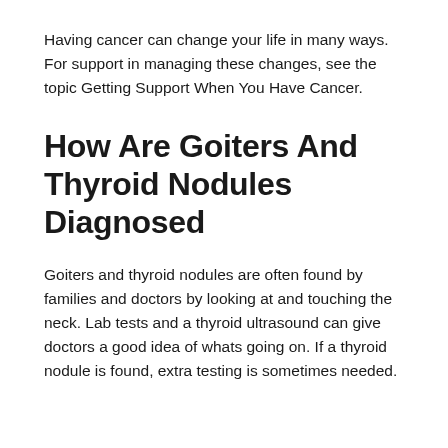Having cancer can change your life in many ways. For support in managing these changes, see the topic Getting Support When You Have Cancer.
How Are Goiters And Thyroid Nodules Diagnosed
Goiters and thyroid nodules are often found by families and doctors by looking at and touching the neck. Lab tests and a thyroid ultrasound can give doctors a good idea of whats going on. If a thyroid nodule is found, extra testing is sometimes needed.